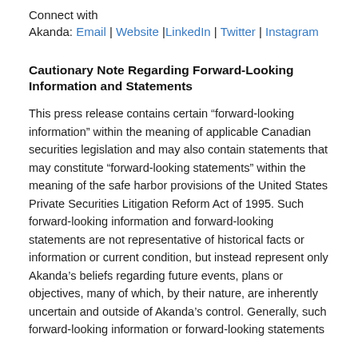Connect with
Akanda: Email | Website | LinkedIn | Twitter | Instagram
Cautionary Note Regarding Forward-Looking Information and Statements
This press release contains certain “forward-looking information” within the meaning of applicable Canadian securities legislation and may also contain statements that may constitute “forward-looking statements” within the meaning of the safe harbor provisions of the United States Private Securities Litigation Reform Act of 1995. Such forward-looking information and forward-looking statements are not representative of historical facts or information or current condition, but instead represent only Akanda’s beliefs regarding future events, plans or objectives, many of which, by their nature, are inherently uncertain and outside of Akanda’s control. Generally, such forward-looking information or forward-looking statements